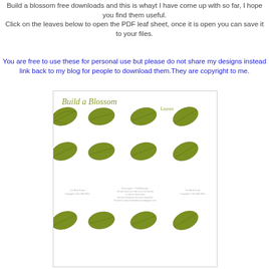Build a blossom free downloads and this is whayt I have come up with so far, I hope you find them useful.
Click on the leaves below to open the PDF leaf sheet, once it is open you can save it to your files.
You are free to use these for personal use but please do not share my designs instead link back to my blog for people to download them.They are copyright to me.
[Figure (illustration): Preview of a 'Build a Blossom Leaves' printable PDF sheet showing multiple green leaf shapes arranged in rows on a white page, with decorative script title text at the top reading 'Build a Blossom Leaves'.]